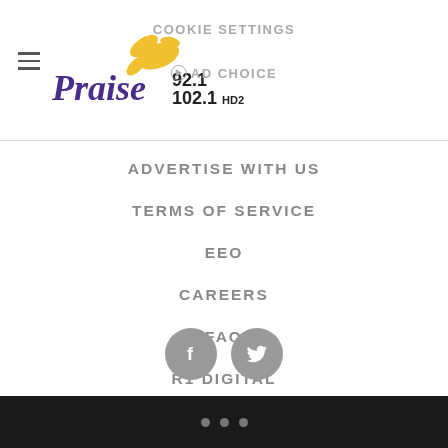[Figure (logo): Praise 92.1 / 102.1 HD2 radio station logo with bird graphic]
COOKIE SETTINGS
AD CHOICE
ADVERTISE WITH US
TERMS OF SERVICE
EEO
CAREERS
FAQ
R1 DIGITAL
KROI FCC APPLICATIONS
FCC PUBLIC FILE
[Figure (other): Facebook and Twitter social media icon buttons (grey circles)]
three dots pagination indicator on black bar